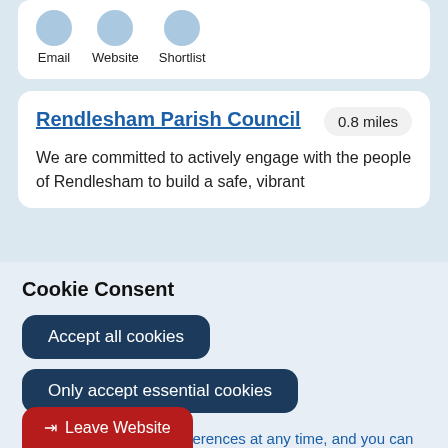Email   Website   Shortlist
Rendlesham Parish Council
0.8 miles
We are committed to actively engage with the people of Rendlesham to build a safe, vibrant
Cookie Consent
Accept all cookies
Only accept essential cookies
You can change your preferences at any time, and you can read more about our cookies before you choose.
Leave Website